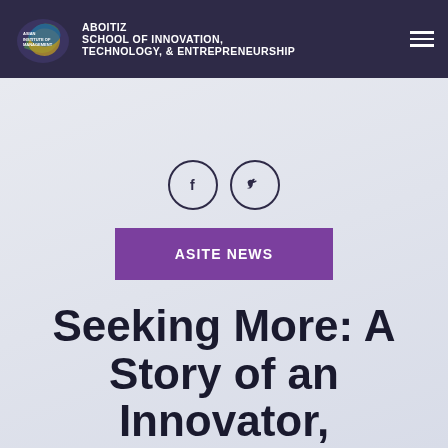ASIAN INSTITUTE OF MANAGEMENT — ABOITIZ SCHOOL OF INNOVATION, TECHNOLOGY, & ENTREPRENEURSHIP
[Figure (logo): AIM logo with colorful swirl and text 'ASIAN INSTITUTE OF MANAGEMENT' beside 'ABOITIZ SCHOOL OF INNOVATION, TECHNOLOGY, & ENTREPRENEURSHIP']
[Figure (illustration): Two circular social media icons: Facebook (f) and Twitter (bird icon)]
ASITE NEWS
Seeking More: A Story of an Innovator, Technologist, and